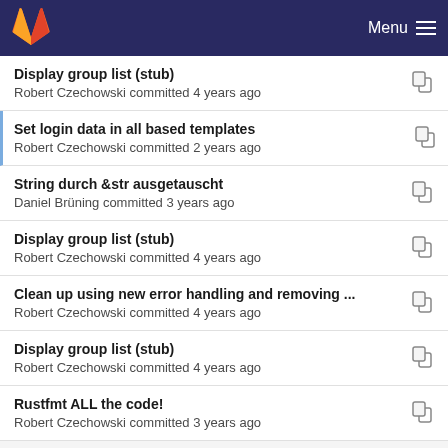GitLab — Menu
Display group list (stub)
Robert Czechowski committed 4 years ago
Set login data in all based templates
Robert Czechowski committed 2 years ago
String durch &str ausgetauscht
Daniel Brüning committed 3 years ago
Display group list (stub)
Robert Czechowski committed 4 years ago
Clean up using new error handling and removing ...
Robert Czechowski committed 4 years ago
Display group list (stub)
Robert Czechowski committed 4 years ago
Rustfmt ALL the code!
Robert Czechowski committed 3 years ago